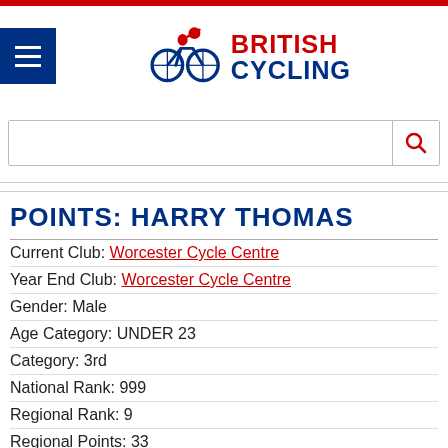[Figure (logo): British Cycling logo with cyclist figure and red/navy text]
POINTS: HARRY THOMAS
Current Club: Worcester Cycle Centre
Year End Club: Worcester Cycle Centre
Gender: Male
Age Category: UNDER 23
Category: 3rd
National Rank: 999
Regional Rank: 9
Regional Points: 33